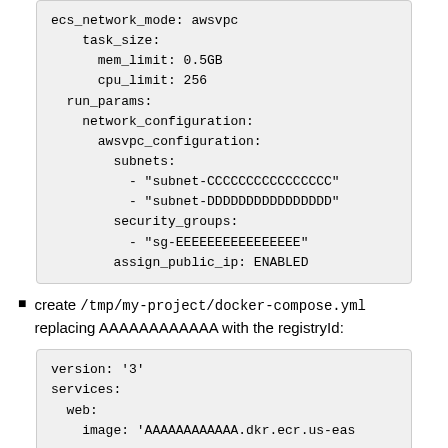ecs_network_mode: awsvpc
    task_size:
      mem_limit: 0.5GB
      cpu_limit: 256
  run_params:
    network_configuration:
      awsvpc_configuration:
        subnets:
          - "subnet-CCCCCCCCCCCCCCCC"
          - "subnet-DDDDDDDDDDDDDDDD"
        security_groups:
          - "sg-EEEEEEEEEEEEEEEE"
        assign_public_ip: ENABLED
create /tmp/my-project/docker-compose.yml replacing AAAAAAAAAAAA with the registryId:
version: '3'
services:
  web:
    image: 'AAAAAAAAAAAA.dkr.ecr.us-eas